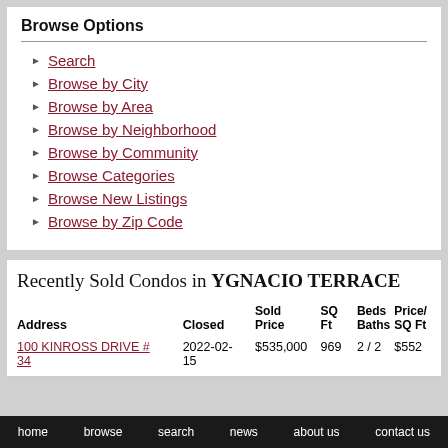Browse Options
Search
Browse by City
Browse by Area
Browse by Neighborhood
Browse by Community
Browse Categories
Browse New Listings
Browse by Zip Code
Recently Sold Condos in YGNACIO TERRACE
| Address | Closed | Sold Price | SQ Ft | Beds Baths | Price/ SQ Ft |
| --- | --- | --- | --- | --- | --- |
| 100 KINROSS DRIVE # 34 | 2022-02-15 | $535,000 | 969 | 2 / 2 | $552 |
home   browse   search   news   about us   contact us